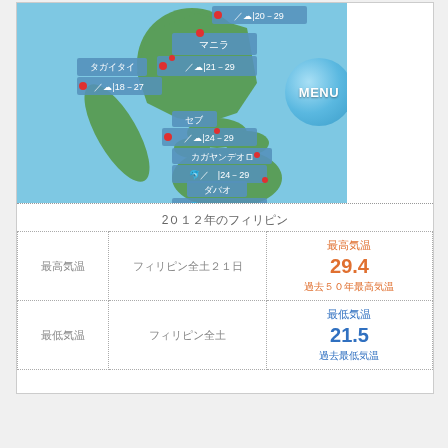[Figure (map): Map of the Philippines showing weather information for cities: Manila (21-29), Tagaytay (18-27), Cebu (24-29), Cagayan de Oro (24-29), Davao (24-30), with weather icons and temperature ranges displayed in blue overlay boxes. A MENU button appears to the right of the map.]
2０12年のフィリピン
|  |  |  |
| --- | --- | --- |
| 最高気温 | フィリピン全土21日 | 最高気温
29.4
過去50年最高気温 |
| 最低気温 | フィリピン全土 | 最低気温
21.5
過去最低気温 |